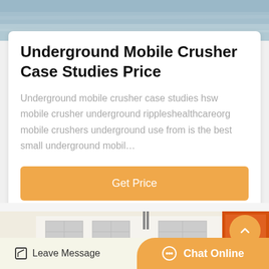[Figure (photo): Top portion of a photo showing a blurred outdoor/industrial background in blue-grey tones]
Underground Mobile Crusher Case Studies Price
Underground mobile crusher case studies hsw mobile crusher underground rippleshealthcareorg mobile crushers underground use from is the best small underground mobil…
Get Price
[Figure (photo): Partial view of a white industrial building with large windows and orange machinery visible at the right edge]
Leave Message
Chat Online